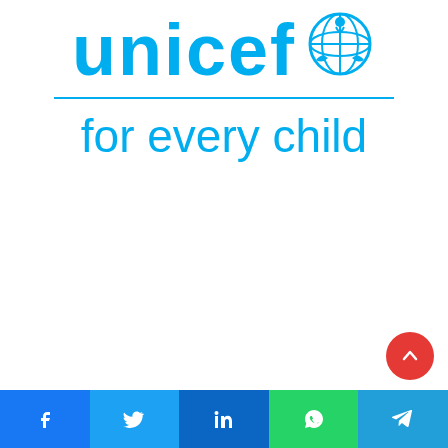[Figure (logo): UNICEF logo with globe emblem and tagline 'for every child' in cyan/blue color]
[Figure (infographic): Social sharing bar at bottom with Facebook, Twitter, LinkedIn, WhatsApp, Telegram icons, and a red scroll-to-top button]